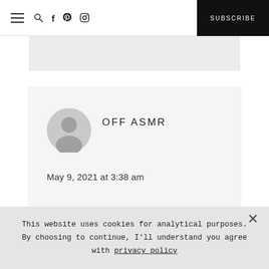☰ 🔍 f p ⬡  SUBSCRIBE
[Figure (other): Gray banner placeholder below header navigation]
[Figure (other): User avatar - generic gray person silhouette icon]
OFF ASMR
May 9, 2021 at 3:38 am
· · · · · · · · · · · · · · · · · · ·
This website uses cookies for analytical purposes. By choosing to continue, I'll understand you agree with privacy policy